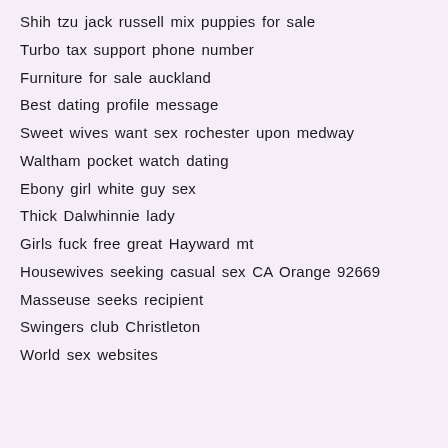Shih tzu jack russell mix puppies for sale
Turbo tax support phone number
Furniture for sale auckland
Best dating profile message
Sweet wives want sex rochester upon medway
Waltham pocket watch dating
Ebony girl white guy sex
Thick Dalwhinnie lady
Girls fuck free great Hayward mt
Housewives seeking casual sex CA Orange 92669
Masseuse seeks recipient
Swingers club Christleton
World sex websites